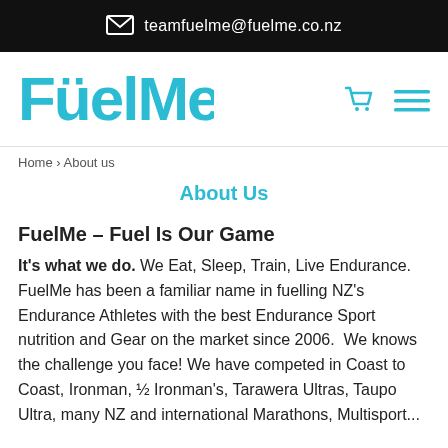teamfuelme@fuelme.co.nz
[Figure (logo): FuelMe logo in cyan/teal color with rounded chunky font, including umlaut over the u]
Home › About us
About Us
FuelMe – Fuel Is Our Game
It's what we do. We Eat, Sleep, Train, Live Endurance. FuelMe has been a familiar name in fuelling NZ's Endurance Athletes with the best Endurance Sport nutrition and Gear on the market since 2006.  We knows the challenge you face! We have competed in Coast to Coast, Ironman, ½ Ironman's, Tarawera Ultras, Taupo Ultra, many NZ and international Marathons, Multisport...